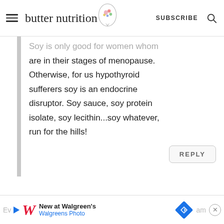butter nutrition | SUBSCRIBE
Soy is only good for women whom are in their stages of menopause. Otherwise, for us hypothyroid sufferers soy is an endocrine disruptor. Soy sauce, soy protein isolate, soy lecithin...soy whatever, run for the hills!
REPLY
New at Walgreen's Walgreens Photo [advertisement]